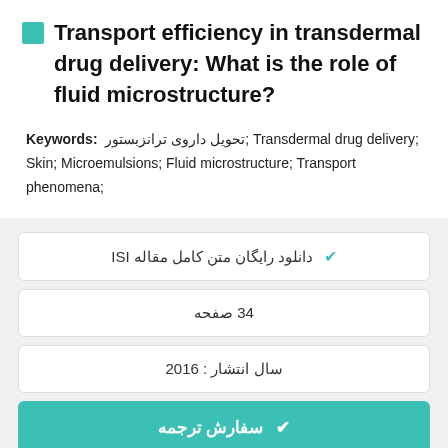Transport efficiency in transdermal drug delivery: What is the role of fluid microstructure?
Keywords: تحویل داروی ترانزبستور; Transdermal drug delivery; Skin; Microemulsions; Fluid microstructure; Transport phenomena;
✔ دانلود رایگان متن کامل مقاله ISI
34 صفحه
سال انتشار : 2016
✔ سفارش ترجمه